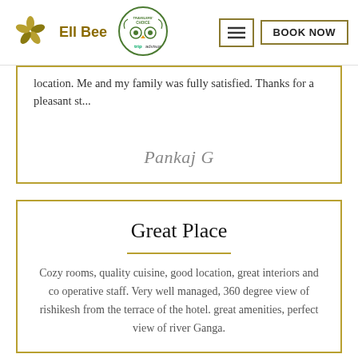Ell Bee | Travelers Choice | tripadvisor | BOOK NOW
location. Me and my family was fully satisfied. Thanks for a pleasant st...
Pankaj G
Great Place
Cozy rooms, quality cuisine, good location, great interiors and co operative staff. Very well managed, 360 degree view of rishikesh from the terrace of the hotel. great amenities, perfect view of river Ganga.